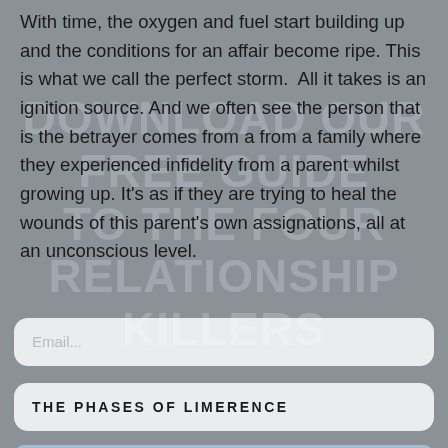With time, the oxygen and fuel start building up and the conditions for an affair become ripe. This is what we call the perfect storm.  All it takes is an ignition source. And we often see the person that is the betrayer comes from a from a family where they experienced infidelity from a parent whilst growing up. It's as if they are trying to heal the wounds of this parent's own assignations, all at an unconscious level.
THE PHASES OF LIMERENCE
Like other addictions, we see limerence originating from early life psychological wounding. We use it